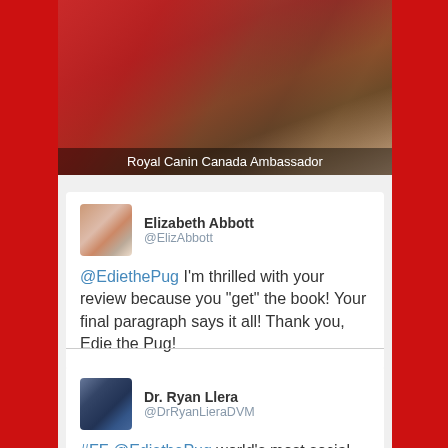[Figure (photo): Top portion of image showing a blurred red chair, with overlay text reading 'Royal Canin Canada Ambassador']
Royal Canin Canada Ambassador
Elizabeth Abbott
@ElizAbbott

@EdiethePug I'm thrilled with your review because you "get" the book! Your final paragraph says it all! Thank you, Edie the Pug!
Dr. Ryan Llera
@DrRyanLieraDVM

#FF @EdiethePug world's most social media savvy